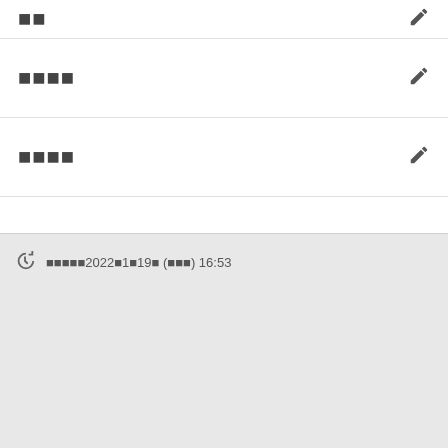■■
■■■■
■■■■
■■■■2022■1■19■ (■■■) 16:53